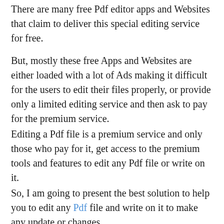There are many free Pdf editor apps and Websites that claim to deliver this special editing service for free.
But, mostly these free Apps and Websites are either loaded with a lot of Ads making it difficult for the users to edit their files properly, or provide only a limited editing service and then ask to pay for the premium service.
Editing a Pdf file is a premium service and only those who pay for it, get access to the premium tools and features to edit any Pdf file or write on it.
So, I am going to present the best solution to help you to edit any Pdf file and write on it to make any update or changes.